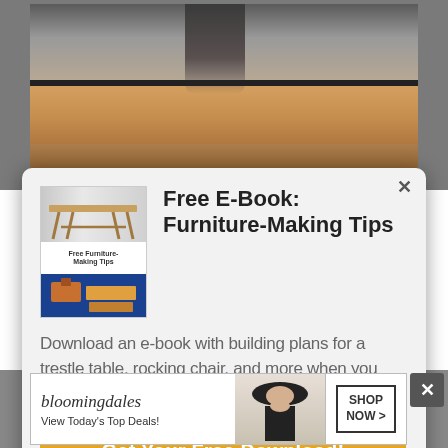[Figure (screenshot): Background showing a photo of a person staining or painting a wooden table, partially obscured by a modal popup overlay]
[Figure (illustration): Book cover for 'Free Furniture-Making Tips' e-book, showing a trestle table on top and woodworking image on bottom with blue background]
Free E-Book: Furniture-Making Tips
Download an e-book with building plans for a trestle table, rocking chair, and more when you sign up for our weekly newsletter.
Get Your Free Download!
[Figure (screenshot): Bloomingdale's advertisement banner with text 'View Today's Top Deals!' and 'SHOP NOW >' button]